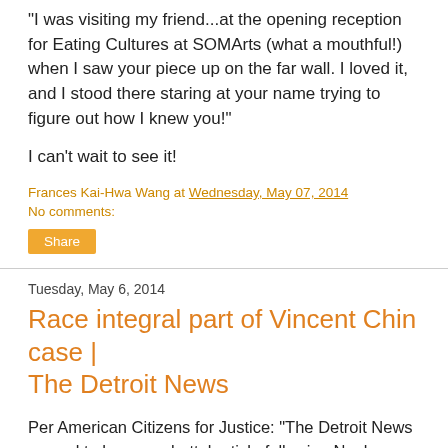"I was visiting my friend...at the opening reception for Eating Cultures at SOMArts (what a mouthful!) when I saw your piece up on the far wall. I loved it, and I stood there staring at your name trying to figure out how I knew you!"
I can't wait to see it!
Frances Kai-Hwa Wang at Wednesday, May 07, 2014
No comments:
Share
Tuesday, May 6, 2014
Race integral part of Vincent Chin case | The Detroit News
Per American Citizens for Justice: "The Detroit News agreed to have a rebuttal article following Neal Rubin's article after discussions with AAJA National, and invited Frank Wu to write an article. Here it is in today's Detroit News."